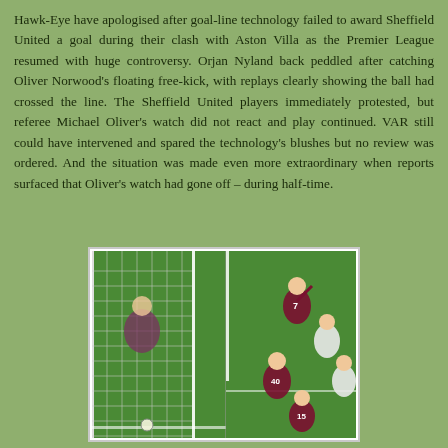Hawk-Eye have apologised after goal-line technology failed to award Sheffield United a goal during their clash with Aston Villa as the Premier League resumed with huge controversy. Orjan Nyland back peddled after catching Oliver Norwood's floating free-kick, with replays clearly showing the ball had crossed the line. The Sheffield United players immediately protested, but referee Michael Oliver's watch did not react and play continued. VAR still could have intervened and spared the technology's blushes but no review was ordered. And the situation was made even more extraordinary when reports surfaced that Oliver's watch had gone off – during half-time.
[Figure (photo): Split image showing two views of a football goal-line incident at Villa Park. Left side shows the goal net from behind with a goalkeeper partially visible behind it. Right side shows players in claret/maroon and white kits near the goal area, with player number 7 visible raising an arm, and player number 40 visible in the foreground.]